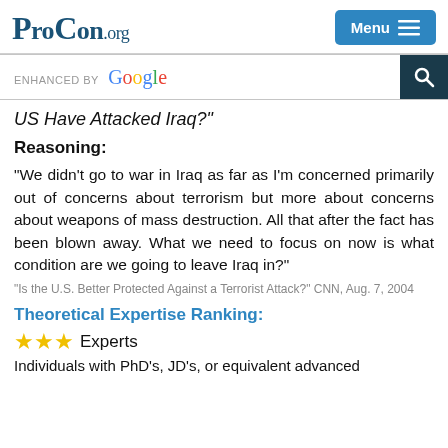ProCon.org | Menu
US Have Attacked Iraq?"
Reasoning:
"We didn't go to war in Iraq as far as I'm concerned primarily out of concerns about terrorism but more about concerns about weapons of mass destruction. All that after the fact has been blown away. What we need to focus on now is what condition are we going to leave Iraq in?"
"Is the U.S. Better Protected Against a Terrorist Attack?" CNN, Aug. 7, 2004
Theoretical Expertise Ranking:
⭐⭐⭐ Experts
Individuals with PhD's, JD's, or equivalent advanced